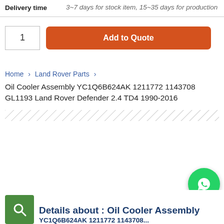| Delivery time |  |
| --- | --- |
| Delivery time | 3~7 days for stock item, 15~35 days for production |
1
Add to Quote
Home > Land Rover Parts >
Oil Cooler Assembly YC1Q6B624AK 1211772 1143708 GL1193 Land Rover Defender 2.4 TD4 1990-2016
Details about : Oil Cooler Assembly YC1Q6B624AK 1211772 1143708...